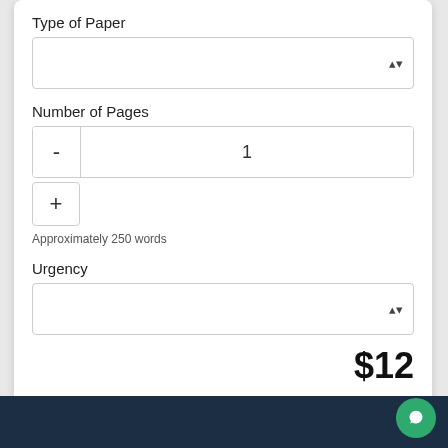Type of Paper
Number of Pages
1
Approximately 250 words
Urgency
$12
ORDER NOW